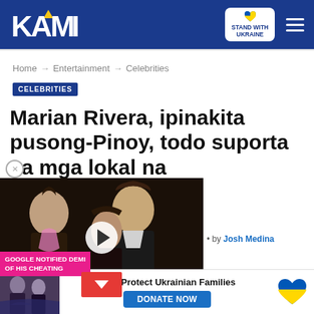KAMI — STAND WITH UKRAINE
Home → Entertainment → Celebrities
CELEBRITIES
Marian Rivera, ipinakita pusong-Pinoy, todo suporta sa mga lokal na
[Figure (screenshot): Video thumbnail showing two people, with play button overlay. Caption reads: GOOGLE NOTIFIED DEMI OF HIS CHEATING. Scroll down red button visible.]
by Josh Medina
[Figure (infographic): Ukraine donation banner with photo of people and DONATE NOW button. Text: Help Protect Ukrainian Families. Blue-yellow heart graphic.]